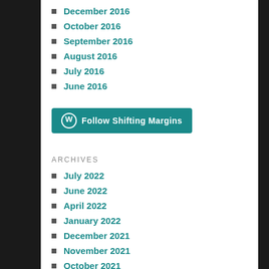December 2016
October 2016
September 2016
August 2016
July 2016
June 2016
[Figure (other): Follow Shifting Margins button with WordPress icon]
ARCHIVES
July 2022
June 2022
April 2022
January 2022
December 2021
November 2021
October 2021
September 2021
June 2021
May 2021